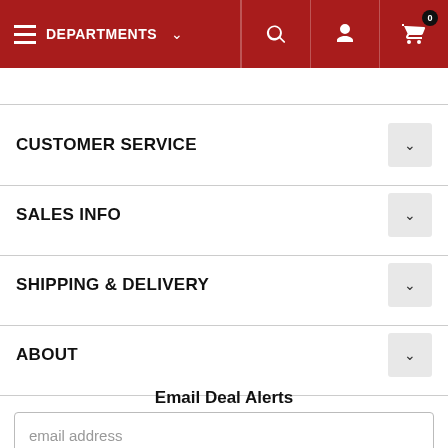DEPARTMENTS
CUSTOMER SERVICE
SALES INFO
SHIPPING & DELIVERY
ABOUT
Email Deal Alerts
email address
Subscribe